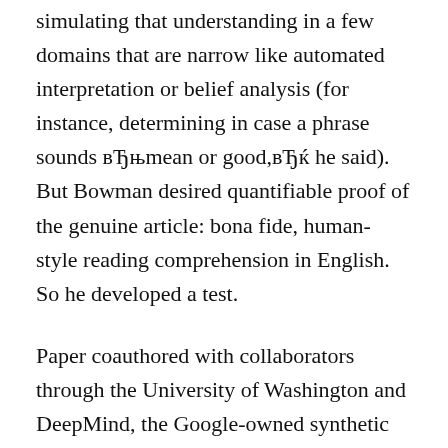simulating that understanding in a few domains that are narrow like automated interpretation or belief analysis (for instance, determining in case a phrase sounds вЂњmean or good,вЂќ he said). But Bowman desired quantifiable proof of the genuine article: bona fide, human-style reading comprehension in English. So he developed a test.
Paper coauthored with collaborators through the University of Washington and DeepMind, the Google-owned synthetic cleverness business, Bowman introduced a battery pack of nine reading-comprehension tasks for computer systems called GLUE (General Language Understanding assessment). The test had been